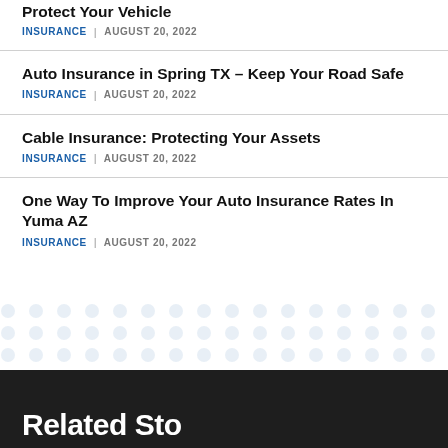Protect Your Vehicle
INSURANCE · AUGUST 20, 2022
Auto Insurance in Spring TX – Keep Your Road Safe
INSURANCE · AUGUST 20, 2022
Cable Insurance: Protecting Your Assets
INSURANCE · AUGUST 20, 2022
One Way To Improve Your Auto Insurance Rates In Yuma AZ
INSURANCE · AUGUST 20, 2022
Related Stories